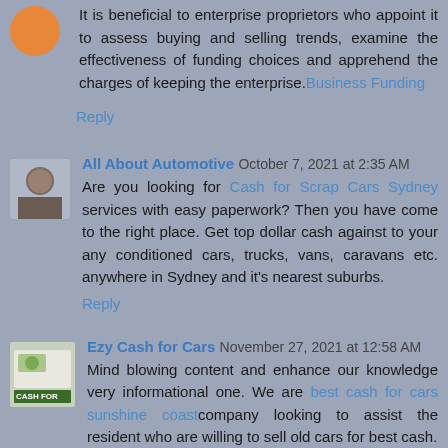It is beneficial to enterprise proprietors who appoint it to assess buying and selling trends, examine the effectiveness of funding choices and apprehend the charges of keeping the enterprise. Business Funding
Reply
[Figure (photo): Avatar photo of a man for All About Automotive commenter]
All About Automotive  October 7, 2021 at 2:35 AM
Are you looking for Cash for Scrap Cars Sydney services with easy paperwork? Then you have come to the right place. Get top dollar cash against to your any conditioned cars, trucks, vans, caravans etc. anywhere in Sydney and it's nearest suburbs.
Reply
[Figure (logo): Ezy Cash for Cars logo with green cash icon]
Ezy Cash for Cars  November 27, 2021 at 12:58 AM
Mind blowing content and enhance our knowledge very informational one. We are best cash for cars sunshine coast company looking to assist the resident who are willing to sell old cars for best cash.